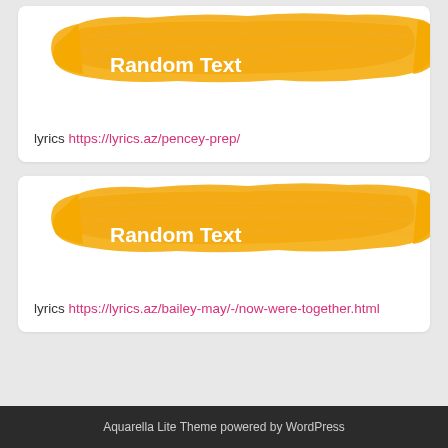[Figure (illustration): Yellow paintbrush stroke banner with 'Random Text' written in white bold text over it]
lyrics https://lyrics.az/pencey-prep/
[Figure (illustration): Yellow paintbrush stroke banner with 'Random Text' written in white bold text over it]
lyrics https://lyrics.az/bailey-may/-/now-were-together.html
Aquarella Lite Theme powered by WordPress